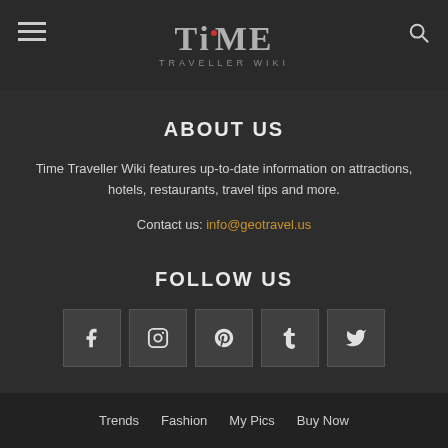TIME TRAVELLER WIKI
ABOUT US
Time Traveller Wiki features up-to-date information on attractions, hotels, restaurants, travel tips and more.
Contact us: info@geotravel.us
FOLLOW US
[Figure (other): Social media icons: Facebook, Instagram, Pinterest, Tumblr, Twitter]
Trends  Fashion  My Pics  Buy Now